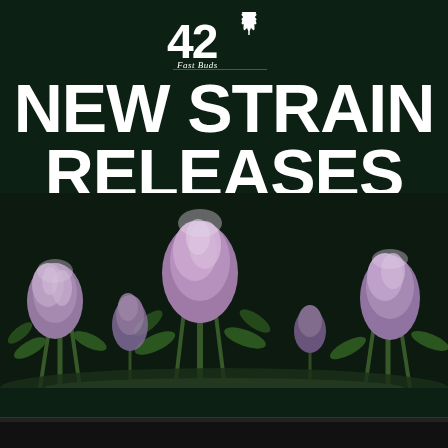[Figure (logo): 42 Fast Buds logo with cannabis leaf graphic and brand name]
NEW STRAIN RELEASES 2022
[Figure (photo): Cannabis plants with purple and pink buds against dark background]
[Figure (photo): Dark bottom strip, partial view of another section]